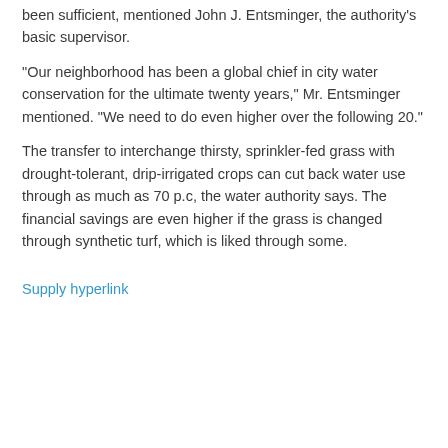been sufficient, mentioned John J. Entsminger, the authority's basic supervisor.
“Our neighborhood has been a global chief in city water conservation for the ultimate twenty years,” Mr. Entsminger mentioned. “We need to do even higher over the following 20.”
The transfer to interchange thirsty, sprinkler-fed grass with drought-tolerant, drip-irrigated crops can cut back water use through as much as 70 p.c, the water authority says. The financial savings are even higher if the grass is changed through synthetic turf, which is liked through some.
Supply hyperlink